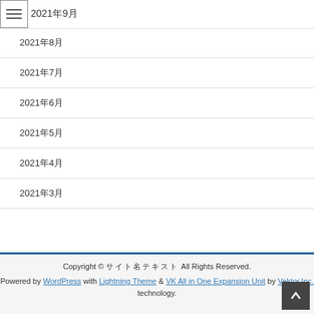2021年9月
2021年8月
2021年7月
2021年6月
2021年5月
2021年4月
2021年3月
Copyright © サイト名 All Rights Reserved. Powered by WordPress with Lightning Theme & VK All in One Expansion Unit by Vektor,Inc. technology.